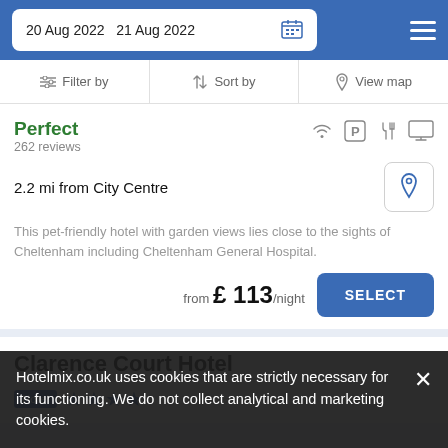20 Aug 2022  21 Aug 2022
Filter by
Sort by
View map
Perfect
262 reviews
2.2 mi from City Centre
This pet-friendly hotel with garden views lies close to the sights of Cheltenham including Cheltenham General Hospital.
from £ 113/night
SELECT
Clarence Court Hotel
Hotel ★★★★
Hotelmix.co.uk uses cookies that are strictly necessary for its functioning. We do not collect analytical and marketing cookies.